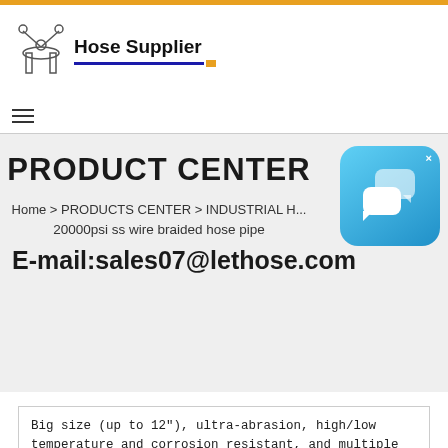Hose Supplier
PRODUCT CENTER
Home > PRODUCTS CENTER > INDUSTRIAL H... > 20000psi ss wire braided hose pipe
E-mail:sales07@lethose.com
[Figure (illustration): Chat support widget icon — blue rounded square with speech bubble icons]
Big size (up to 12"), ultra-abrasion, high/low temperature and corrosion resistant, and multiple length choices, Letone